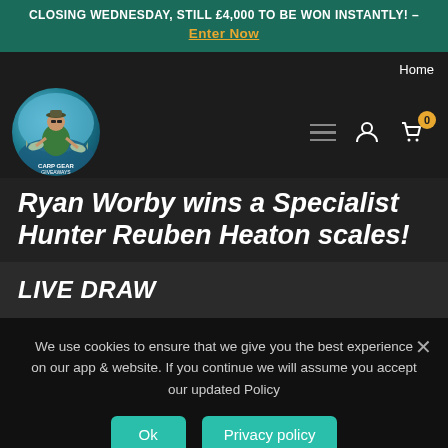CLOSING WEDNESDAY, STILL £4,000 TO BE WON INSTANTLY! – Enter Now
Home
[Figure (logo): Carp Gear Giveaways circular logo with cartoon fisherman character and fish graphics]
Ryan Worby wins a Specialist Hunter Reuben Heaton scales!
LIVE DRAW
We use cookies to ensure that we give you the best experience on our app & website. If you continue we will assume you accept our updated Policy